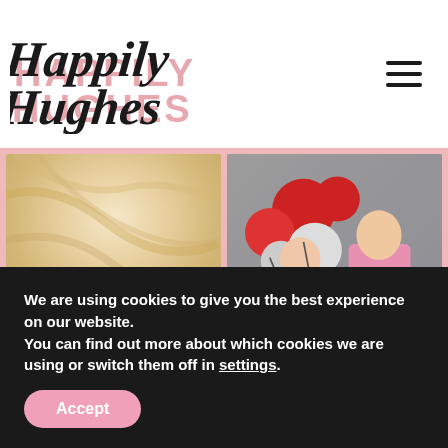[Figure (logo): Happily Hughes blog logo with script and sans-serif typography in black and pink]
[Figure (photo): 2x2 photo grid on pink background: blonde hair close-up, two girls with red and white balloons, hand with mint nails (video), couple in Venice rooftop (video)]
We are using cookies to give you the best experience on our website.
You can find out more about which cookies we are using or switch them off in settings.
Accept